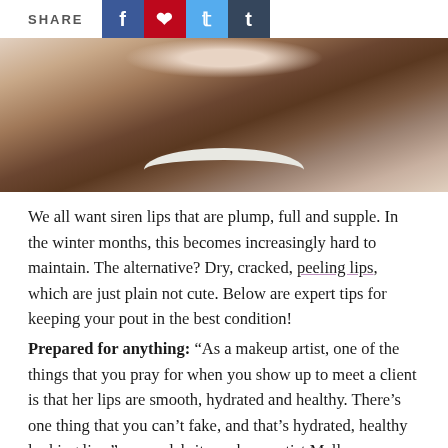SHARE [facebook] [pinterest] [twitter] [tumblr]
[Figure (photo): Close-up photo of person's chin/neck area wearing a white knit sweater with brown hair visible, showing lower face and neckline]
We all want siren lips that are plump, full and supple. In the winter months, this becomes increasingly hard to maintain. The alternative? Dry, cracked, peeling lips, which are just plain not cute. Below are expert tips for keeping your pout in the best condition!
Prepared for anything: “As a makeup artist, one of the things that you pray for when you show up to meet a client is that her lips are smooth, hydrated and healthy. There’s one thing that you can’t fake, and that’s hydrated, healthy looking lips,” says celebrity makeup artist Mally